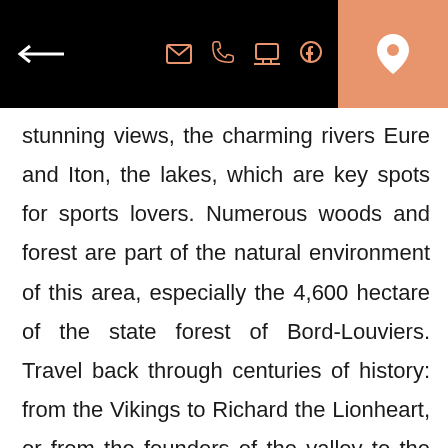← [back arrow] [email icon] [phone icon] [laptop icon] [facebook icon] [location icon]
stunning views, the charming rivers Eure and Iton, the lakes, which are key spots for sports lovers. Numerous woods and forest are part of the natural environment of this area, especially the 4,600 hectare of the state forest of Bord-Louviers. Travel back through centuries of history: from the Vikings to Richard the Lionheart, or from the founders of the valley to the boatmen, this journey back in time will take you from the medieval period to the most-recent town in France. Form the stone from Vernon to half-timbered houses, including the most contemporary buildings, discover the area's exceptional architectural heritage. To make the most of your visit of this Norman area, the intermunicipal Tourist Information Centre based in Louviers, and covering 37 towns and villages including